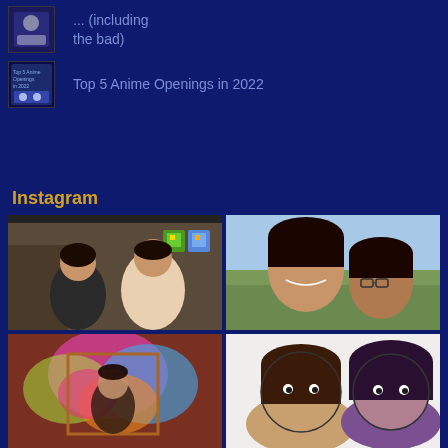... (including the bad)
Top 5 Anime Openings in 2022
Instagram
[Figure (photo): Two young women posing indoors with pixel art bird stickers overlaid]
[Figure (photo): Two young women smiling outdoors in a field/grassland]
[Figure (photo): Person in colorful decorated room with art]
[Figure (illustration): Illustrated/cartoon style drawing of two characters]